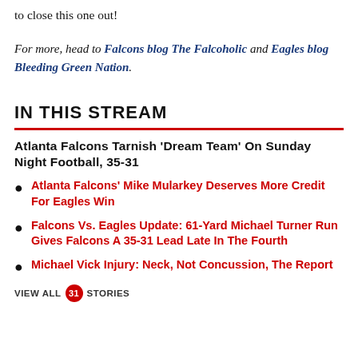to close this one out!
For more, head to Falcons blog The Falcoholic and Eagles blog Bleeding Green Nation.
IN THIS STREAM
Atlanta Falcons Tarnish 'Dream Team' On Sunday Night Football, 35-31
Atlanta Falcons' Mike Mularkey Deserves More Credit For Eagles Win
Falcons Vs. Eagles Update: 61-Yard Michael Turner Run Gives Falcons A 35-31 Lead Late In The Fourth
Michael Vick Injury: Neck, Not Concussion, The Report
VIEW ALL 31 STORIES